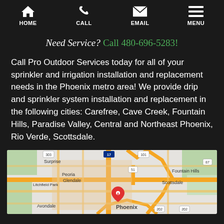HOME | CALL | EMAIL | MENU
Need Service? Call 480-696-5283!
Call Pro Outdoor Services today for all of your sprinkler and irrigation installation and replacement needs in the Phoenix metro area! We provide drip and sprinkler system installation and replacement in the following cities: Carefree, Cave Creek, Fountain Hills, Paradise Valley, Central and Northeast Phoenix, Rio Verde, Scottsdale.
[Figure (map): Google Maps showing Phoenix metro area with marker at Phoenix, including cities: Surprise, Peoria, Glendale, Litchfield Park, Avondale, Fountain Hills, Scottsdale, Phoenix]